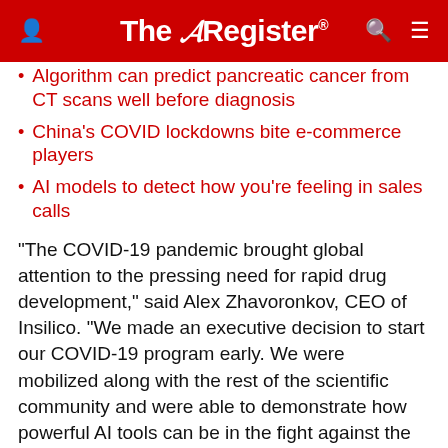The Register
Algorithm can predict pancreatic cancer from CT scans well before diagnosis
China's COVID lockdowns bite e-commerce players
AI models to detect how you're feeling in sales calls
"The COVID-19 pandemic brought global attention to the pressing need for rapid drug development," said Alex Zhavoronkov, CEO of Insilico. "We made an executive decision to start our COVID-19 program early. We were mobilized along with the rest of the scientific community and were able to demonstrate how powerful AI tools can be in the fight against the disease."
Designing drugs is difficult and takes a long time